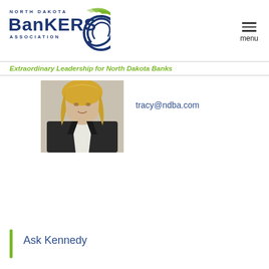North Dakota Bankers Association — menu
Extraordinary Leadership for North Dakota Banks
[Figure (photo): Professional headshot of a woman with blonde hair wearing a white blouse and dark blazer]
tracy@ndba.com
Ask Kennedy